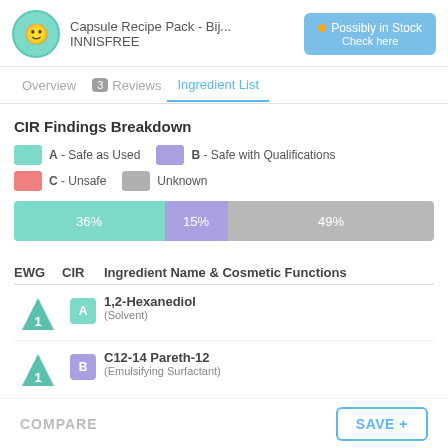Capsule Recipe Pack - Bij... INNISFREE | Possibly in Stock Check here
CIR Findings Breakdown
[Figure (stacked-bar-chart): CIR Findings Breakdown]
| EWG | CIR | Ingredient Name & Cosmetic Functions |
| --- | --- | --- |
| 1 | A | 1,2-Hexanediol
(Solvent) |
| 1 | B | C12-14 Pareth-12
(Emulsifying Surfactant) |
COMPARE   SAVE +